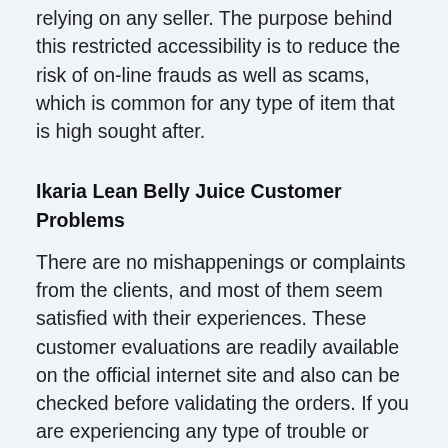relying on any seller. The purpose behind this restricted accessibility is to reduce the risk of on-line frauds as well as scams, which is common for any type of item that is high sought after.
Ikaria Lean Belly Juice Customer Problems
There are no mishappenings or complaints from the clients, and most of them seem satisfied with their experiences. These customer evaluations are readily available on the official internet site and also can be checked before validating the orders. If you are experiencing any type of trouble or problem while using this item, reach out to the business through the call details stated online. Either you will be encouraged of a solution, or you can obtain your refund under the business's